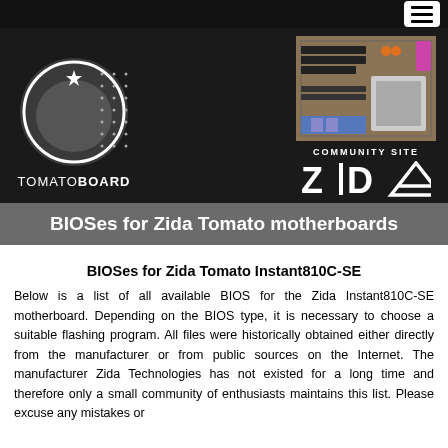[Figure (logo): TomatoBoard and Zida community site banner with tomato logo, motherboard photo, and brand logos on black background]
BIOSes for Zida Tomato motherboards
BIOSes for Zida Tomato Instant810C-SE
Below is a list of all available BIOS for the Zida Instant810C-SE motherboard. Depending on the BIOS type, it is necessary to choose a suitable flashing program. All files were historically obtained either directly from the manufacturer or from public sources on the Internet. The manufacturer Zida Technologies has not existed for a long time and therefore only a small community of enthusiasts maintains this list. Please excuse any mistakes or